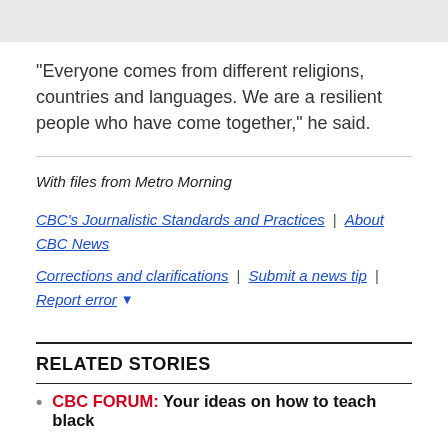"Everyone comes from different religions, countries and languages. We are a resilient people who have come together," he said.
With files from Metro Morning
CBC's Journalistic Standards and Practices | About CBC News
Corrections and clarifications | Submit a news tip | Report error
RELATED STORIES
CBC FORUM: Your ideas on how to teach black